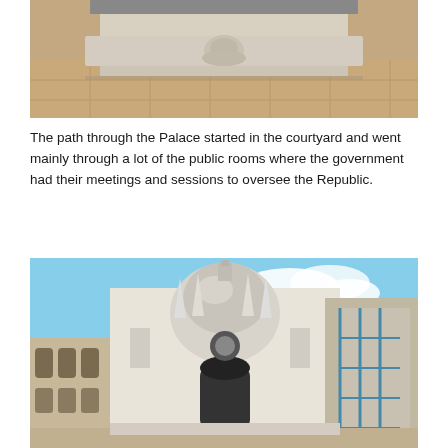[Figure (photo): Stone carved architectural fragment or sarcophagus with a lion face relief decoration, displayed on a shelf or pedestal, set against a tiled stone floor background.]
The path through the Palace started in the courtyard and went mainly through a lot of the public rooms where the government had their meetings and sessions to oversee the Republic.
[Figure (photo): Courtyard of the Doge's Palace in Venice, showing ornate Gothic and Renaissance architecture with a large dome, decorative spires, arched colonnades, and construction scaffolding visible on the right side. Blue sky in background.]